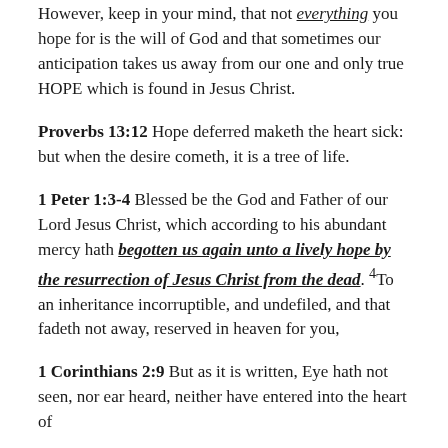However, keep in your mind, that not everything you hope for is the will of God and that sometimes our anticipation takes us away from our one and only true HOPE which is found in Jesus Christ.
Proverbs 13:12 Hope deferred maketh the heart sick: but when the desire cometh, it is a tree of life.
1 Peter 1:3-4 Blessed be the God and Father of our Lord Jesus Christ, which according to his abundant mercy hath begotten us again unto a lively hope by the resurrection of Jesus Christ from the dead. 4To an inheritance incorruptible, and undefiled, and that fadeth not away, reserved in heaven for you,
1 Corinthians 2:9 But as it is written, Eye hath not seen, nor ear heard, neither have entered into the heart of